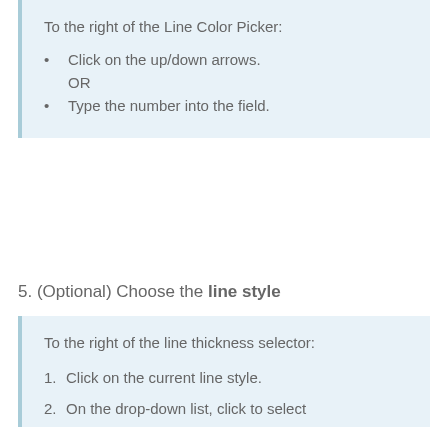To the right of the Line Color Picker:
Click on the up/down arrows.
OR
Type the number into the field.
5. (Optional) Choose the line style
To the right of the line thickness selector:
1. Click on the current line style.
2. On the drop-down list, click to select